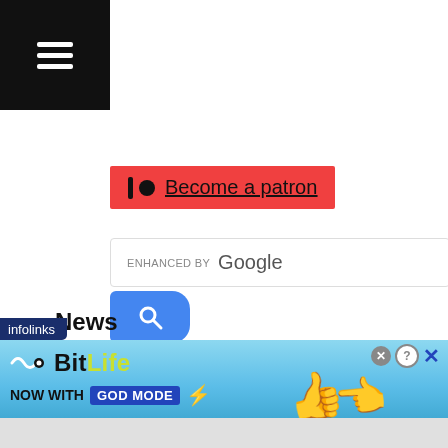[Figure (screenshot): Black navigation bar with hamburger menu icon (three horizontal white lines) on the left]
Become a patron
[Figure (screenshot): Google Enhanced search box with blue search button]
News
News! We try and give you the most interesting news stories from the Asian boxing world!
[Figure (screenshot): Infolinks advertisement banner for BitLife - Now with God Mode, showing cartoon hands and lightning bolt graphics on a light blue background]